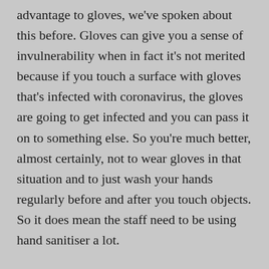advantage to gloves, we've spoken about this before. Gloves can give you a sense of invulnerability when in fact it's not merited because if you touch a surface with gloves that's infected with coronavirus, the gloves are going to get infected and you can pass it on to something else. So you're much better, almost certainly, not to wear gloves in that situation and to just wash your hands regularly before and after you touch objects. So it does mean the staff need to be using hand sanitiser a lot.
Masks are controversial. The main reason for wearing masks in an environment of a supermarket is if you're asymptomatic, you're less likely to pass it on to other people. So it will be up to the policies of the supermarket or the person involved. It's probably not going to make a huge amount of difference but if you